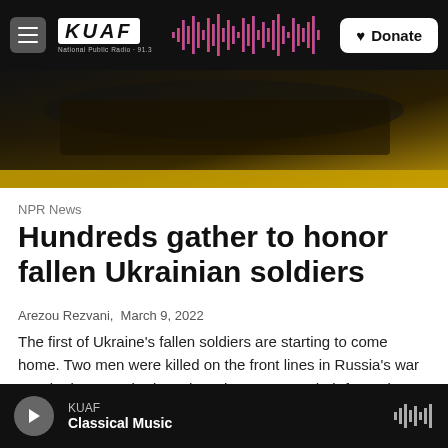KUAF — National Public Radio · Donate
[Figure (photo): Hero image of a fallen soldier draped in Ukrainian flag, dark tones]
NPR News
Hundreds gather to honor fallen Ukrainian soldiers
Arezou Rezvani,  March 9, 2022
The first of Ukraine's fallen soldiers are starting to come home. Two men were killed on the front lines in Russia's war on Ukraine. Hundreds gathered to mourn at their funeral on Tuesday.
KUAF — Classical Music